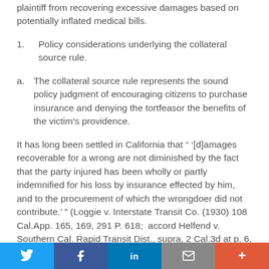plaintiff from recovering excessive damages based on potentially inflated medical bills.
1.    Policy considerations underlying the collateral source rule.
a.    The collateral source rule represents the sound policy judgment of encouraging citizens to purchase insurance and denying the tortfeasor the benefits of the victim's providence.
It has long been settled in California that " '[d]amages recoverable for a wrong are not diminished by the fact that the party injured has been wholly or partly indemnified for his loss by insurance effected by him, and to the procurement of which the wrongdoer did not contribute.' " (Loggie v. Interstate Transit Co. (1930) 108 Cal.App. 165, 169, 291 P. 618;  accord Helfend v. Southern Cal. Rapid Transit Dist., supra, 2 Cal.3d at p. 6, 84 Cal.Rptr. 173, 465